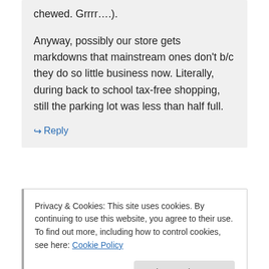chewed. Grrrr….).

Anyway, possibly our store gets markdowns that mainstream ones don't b/c they do so little business now. Literally, during back to school tax-free shopping, still the parking lot was less than half full.
↪ Reply
Privacy & Cookies: This site uses cookies. By continuing to use this website, you agree to their use.
To find out more, including how to control cookies, see here: Cookie Policy
Close and accept
is to prep. I was going to do a post like this